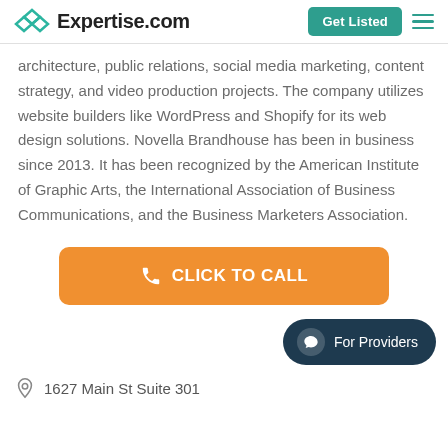Expertise.com | Get Listed
architecture, public relations, social media marketing, content strategy, and video production projects. The company utilizes website builders like WordPress and Shopify for its web design solutions. Novella Brandhouse has been in business since 2013. It has been recognized by the American Institute of Graphic Arts, the International Association of Business Communications, and the Business Marketers Association.
[Figure (other): Orange 'CLICK TO CALL' button with phone icon]
[Figure (other): Dark teal 'For Providers' chat button]
1627 Main St Suite 301